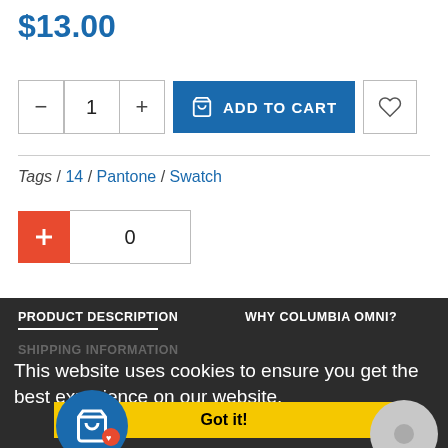$13.00
− 1 + ADD TO CART ♡
Tags / 14 / Pantone / Swatch
+ 0
PRODUCT DESCRIPTION
WHY COLUMBIA OMNI?
SHIPPING INFORMATION
This website uses cookies to ensure you get the best experience on our website.
Got it!
The 19 TCX Eggshell Swatch Card is a single swatch used by Fashion Designers, Product Developers, Interior Decorators to communicate consistent and accurate colors to clients, colleagues, vendors, and manufacturers.